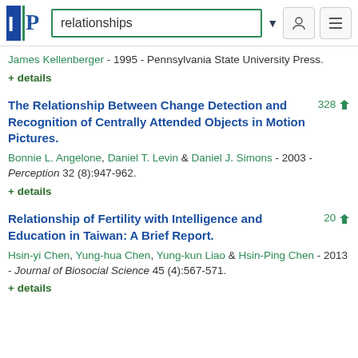[Figure (screenshot): Website header with logo, search box containing 'relationships', dropdown arrow, user icon, and menu icon]
James Kellenberger - 1995 - Pennsylvania State University Press.
+ details
The Relationship Between Change Detection and Recognition of Centrally Attended Objects in Motion Pictures.
328 (download icon)
Bonnie L. Angelone, Daniel T. Levin & Daniel J. Simons - 2003 - Perception 32 (8):947-962.
+ details
Relationship of Fertility with Intelligence and Education in Taiwan: A Brief Report.
20 (download icon)
Hsin-yi Chen, Yung-hua Chen, Yung-kun Liao & Hsin-Ping Chen - 2013 - Journal of Biosocial Science 45 (4):567-571.
+ details